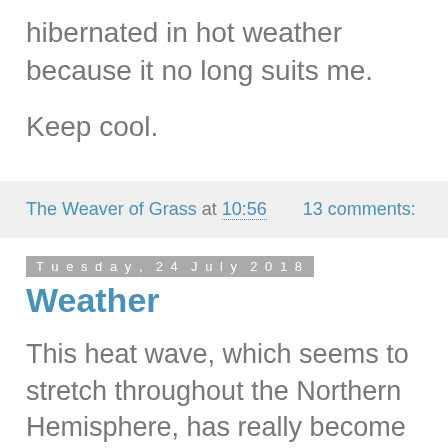hibernated in hot weather because it no long suits me.
Keep cool.
The Weaver of Grass at 10:56    13 comments:
Tuesday, 24 July 2018
Weather
This heat wave, which seems to stretch throughout the Northern Hemisphere, has really become quite scary.   Greece is the place now to succumb to the